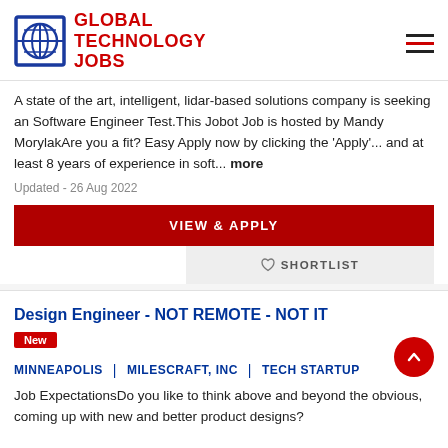GLOBAL TECHNOLOGY JOBS
A state of the art, intelligent, lidar-based solutions company is seeking an Software Engineer Test.This Jobot Job is hosted by Mandy MorylakAre you a fit? Easy Apply now by clicking the 'Apply'... and at least 8 years of experience in soft... more
Updated - 26 Aug 2022
VIEW & APPLY
SHORTLIST
Design Engineer - NOT REMOTE - NOT IT
New
MINNEAPOLIS | MILESCRAFT, INC | TECH STARTUP
Job ExpectationsDo you like to think above and beyond the obvious, coming up with new and better product designs?